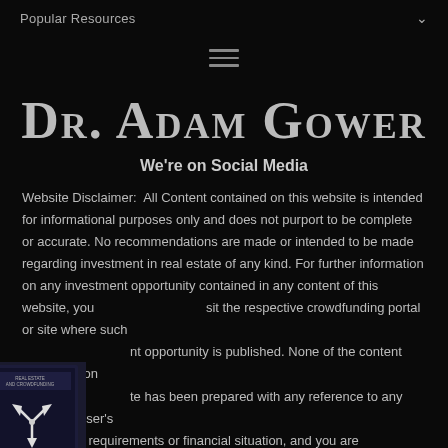Popular Resources
[Figure (other): Hamburger menu icon (three horizontal lines)]
Dr. Adam Gower
We're on Social Media
Website Disclaimer:  All Content contained on this website is intended for informational purposes only and does not purport to be complete or accurate. No recommendations are made or intended to be made regarding investment in real estate of any kind. For further information on any investment opportunity contained in any content of this website, you visit the respective crowdfunding portal or site where such nt opportunity is published. None of the content presented on te has been prepared with any reference to any particular user's investment requirements or financial situation, and you are encouraged to
[Figure (photo): Book cover for a real estate and crowdfunding publication, dark cover with arrows pointing outward]